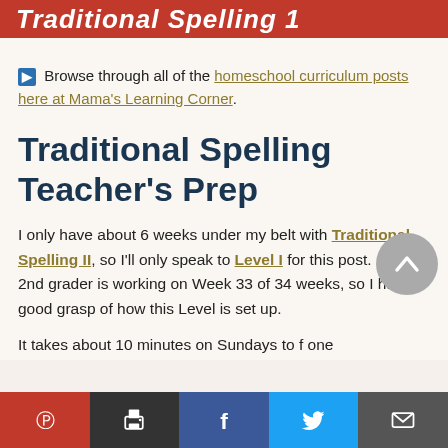Traditional Spelling 1
➡ Browse through all of the homeschool curriculum posts here at Mama's Learning Corner.
Traditional Spelling Teacher's Prep
I only have about 6 weeks under my belt with Traditional Spelling II, so I'll only speak to Level I for this post.  My 2nd grader is working on Week 33 of 34 weeks, so I have a good grasp of how this Level is set up.
It takes about 10 minutes on Sundays to f one
Pinterest | Print | Facebook | Twitter | Email